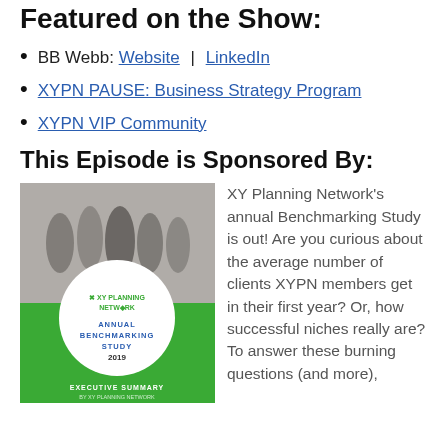Featured on the Show:
BB Webb: Website | LinkedIn
XYPN PAUSE: Business Strategy Program
XYPN VIP Community
This Episode is Sponsored By:
[Figure (photo): XY Planning Network Annual Benchmarking Study 2019 Executive Summary book cover with group photo in black and white]
XY Planning Network’s annual Benchmarking Study is out! Are you curious about the average number of clients XYPN members get in their first year? Or, how successful niches really are? To answer these burning questions (and more),